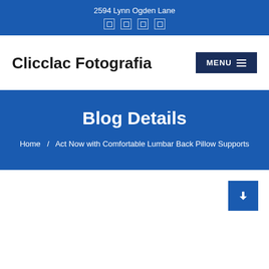2594 Lynn Ogden Lane
Clicclac Fotografia
Blog Details
Home / Act Now with Comfortable Lumbar Back Pillow Supports